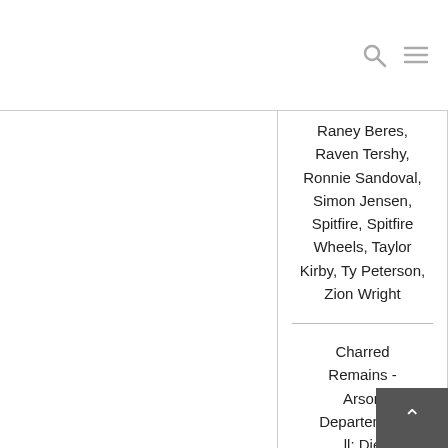Raney Beres, Raven Tershy, Ronnie Sandoval, Simon Jensen, Spitfire, Spitfire Wheels, Taylor Kirby, Ty Peterson, Zion Wright
Charred Remains - Arson Departement ll: Die 20minütige Spitfire RAW